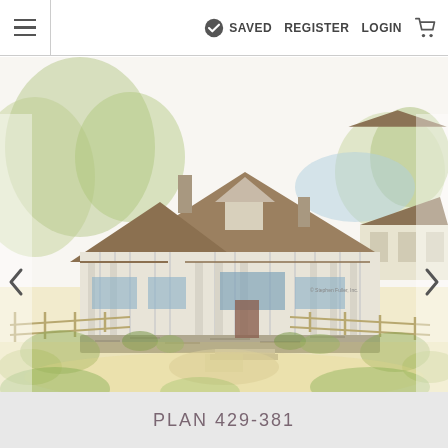≡  SAVED  REGISTER  LOGIN  🛒
[Figure (illustration): Watercolor architectural sketch of a large craftsman-style house with board-and-batten siding, multiple roof peaks, covered porch, stone foundation details, surrounded by trees and landscaping. Navigation arrows on left and right sides.]
PLAN 429-381